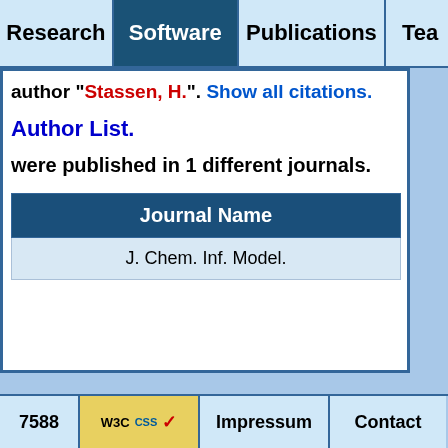Research | Software | Publications | Tea...
author "Stassen, H.". Show all citations.
Author List.
were published in 1 different journals.
| Journal Name |
| --- |
| J. Chem. Inf. Model. |
7588 | W3C CSS | Impressum | Contact